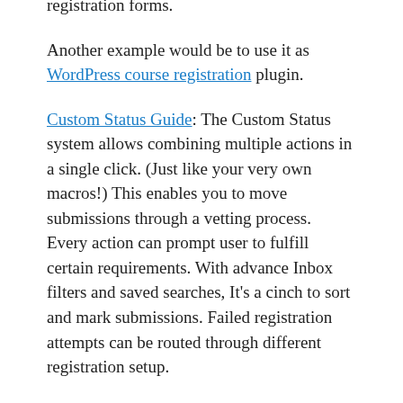registration forms.
Another example would be to use it as WordPress course registration plugin.
Custom Status Guide: The Custom Status system allows combining multiple actions in a single click. (Just like your very own macros!) This enables you to move submissions through a vetting process. Every action can prompt user to fulfill certain requirements. With advance Inbox filters and saved searches, It's a cinch to sort and mark submissions. Failed registration attempts can be routed through different registration setup.
That being said, RegistrationMagic is an equally powerful contact form system. Intelligent contact forms are one of its many unique features built on real world case scenarios. Since registration and contact forms are neatly displayed inside a single All